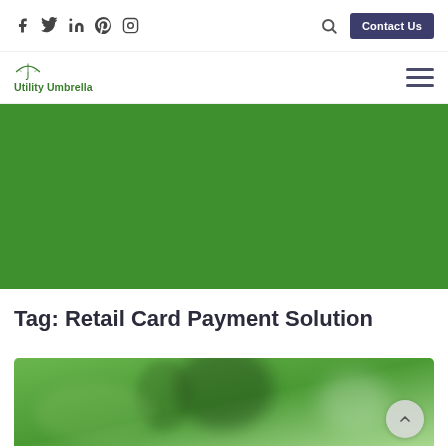Social icons: Facebook, Twitter, LinkedIn, Pinterest, Instagram | Search | Contact Us
[Figure (logo): Utility Umbrella logo with green umbrella icon and text]
[Figure (photo): Green banner/hero image area]
Tag: Retail Card Payment Solution
[Figure (photo): Partial photo showing blurred indoor scene with greenery, bottom of page]